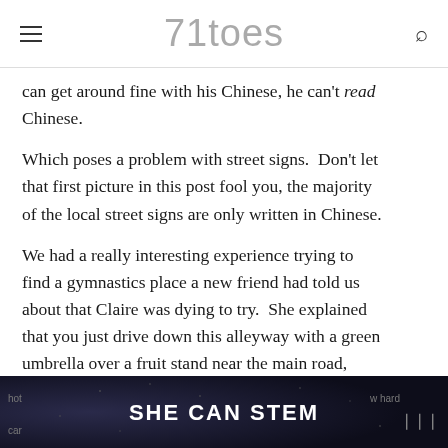71toes
can get around fine with his Chinese, he can't read Chinese.
Which poses a problem with street signs.  Don't let that first picture in this post fool you, the majority of the local street signs are only written in Chinese.
We had a really interesting experience trying to find a gymnastics place a new friend had told us about that Claire was dying to try.  She explained that you just drive down this alleyway with a green umbrella over a fruit stand near the main road, drive through fruit stands and little walking markets and take a right into a little place with an orange sign after you
[Figure (infographic): Dark blue advertisement banner reading SHE CAN STEM with partial text on sides]